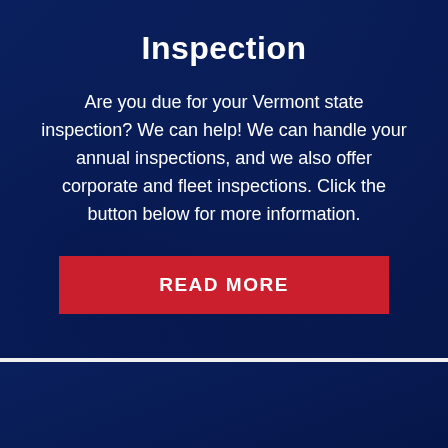[Figure (photo): Dark blue tinted photo of a car engine bay with mechanical components visible, used as background for the Inspection section.]
Inspection
Are you due for your Vermont state inspection? We can help! We can handle your annual inspections, and we also offer corporate and fleet inspections. Click the button below for more information.
[Figure (photo): Dark blue tinted photo appearing at the bottom of the page, partially visible, showing what appears to be an automotive service scene.]